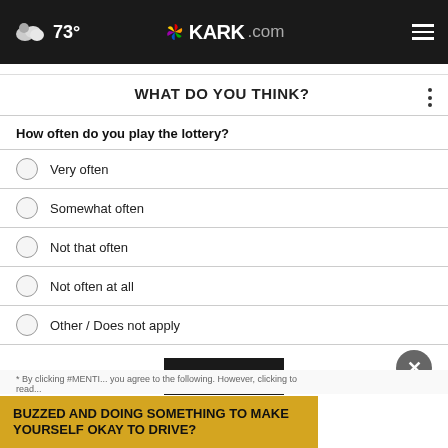73° KARK.com
WHAT DO YOU THINK?
How often do you play the lottery?
Very often
Somewhat often
Not that often
Not often at all
Other / Does not apply
NEXT *
* By clicking #MENTI... you agree to the following. However, clicking to read...
BUZZED AND DOING SOMETHING TO MAKE YOURSELF OKAY TO DRIVE?